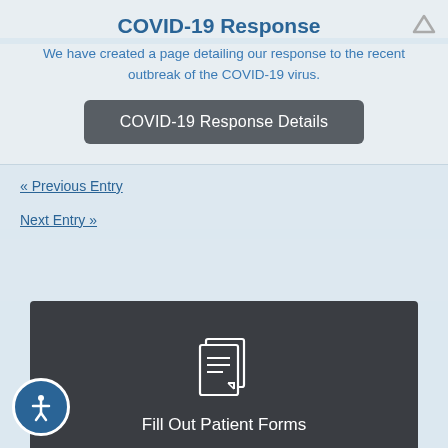COVID-19 Response
We have created a page detailing our response to the recent outbreak of the COVID-19 virus.
COVID-19 Response Details
« Previous Entry
Next Entry »
[Figure (illustration): Dark banner section with a document/forms icon and text 'Fill Out Patient Forms']
Fill Out Patient Forms